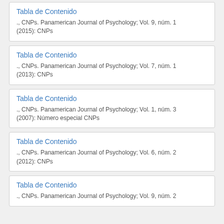Tabla de Contenido
., CNPs. Panamerican Journal of Psychology; Vol. 9, núm. 1 (2015): CNPs
Tabla de Contenido
., CNPs. Panamerican Journal of Psychology; Vol. 7, núm. 1 (2013): CNPs
Tabla de Contenido
., CNPs. Panamerican Journal of Psychology; Vol. 1, núm. 3 (2007): Número especial CNPs
Tabla de Contenido
., CNPs. Panamerican Journal of Psychology; Vol. 6, núm. 2 (2012): CNPs
Tabla de Contenido
., CNPs. Panamerican Journal of Psychology; Vol. 9, núm. 2